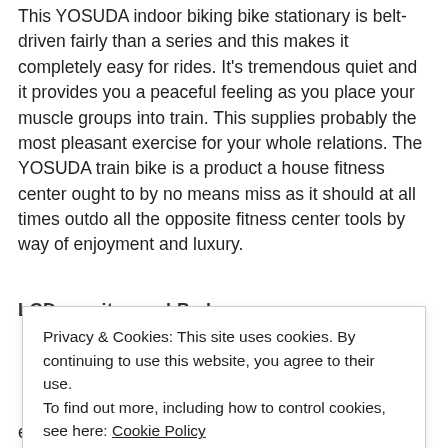This YOSUDA indoor biking bike stationary is belt-driven fairly than a series and this makes it completely easy for rides. It's tremendous quiet and it provides you a peaceful feeling as you place your muscle groups into train. This supplies probably the most pleasant exercise for your whole relations. The YOSUDA train bike is a product a house fitness center ought to by no means miss as it should at all times outdo all the opposite fitness center tools by way of enjoyment and luxury.
LCD monitor and Ped...
Privacy & Cookies: This site uses cookies. By continuing to use this website, you agree to their use. To find out more, including how to control cookies, see here: Cookie Policy
expertise. Utilizing the LCD monitor, the rider can verify